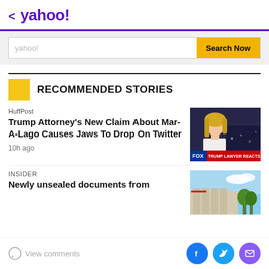< yahoo!
[Figure (screenshot): Yahoo search bar with 'yahoo!' placeholder text and 'Search Now' yellow button]
RECOMMENDED STORIES
HuffPost
Trump Attorney's New Claim About Mar-A-Lago Causes Jaws To Drop On Twitter
10h ago
[Figure (photo): Fox News screenshot of a blonde woman in white dress with 'TRUMP LAWYER REACTS TO POSSI' text bar]
INSIDER
Newly unsealed documents from the FBI...
[Figure (photo): Exterior building photo with blue sky and trees]
View comments